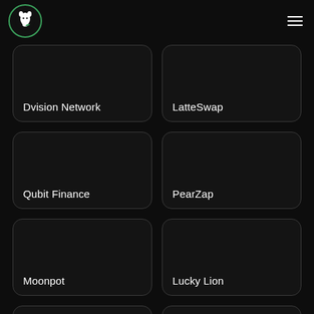Logo and navigation menu
Dvision Network
LatteSwap
Qubit Finance
PearZap
Moonpot
Lucky Lion
Polar Sync
Monsta Infinite